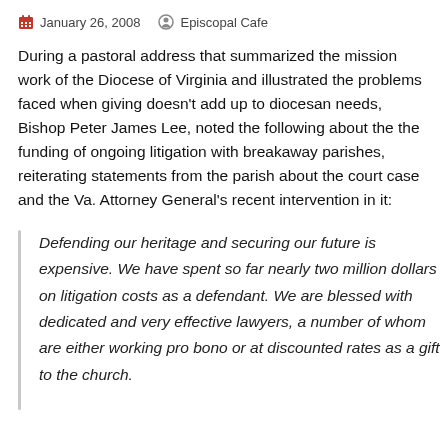January 26, 2008   Episcopal Cafe
During a pastoral address that summarized the mission work of the Diocese of Virginia and illustrated the problems faced when giving doesn't add up to diocesan needs, Bishop Peter James Lee, noted the following about the the funding of ongoing litigation with breakaway parishes, reiterating statements from the parish about the court case and the Va. Attorney General's recent intervention in it:
Defending our heritage and securing our future is expensive. We have spent so far nearly two million dollars on litigation costs as a defendant. We are blessed with dedicated and very effective lawyers, a number of whom are either working pro bono or at discounted rates as a gift to the church.